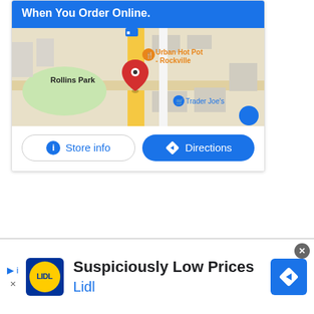When You Order Online.
[Figure (map): Google Maps view showing Rollins Park area with Urban Hot Pot - Rockville marker, Trader Joe's label, and a red location pin]
Store info
Directions
[Figure (infographic): Lidl advertisement banner showing Lidl logo, text 'Suspiciously Low Prices' and 'Lidl', with a navigation/directions icon on the right and close button]